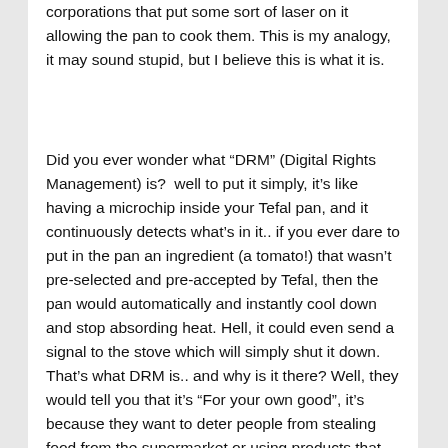corporations that put some sort of laser on it allowing the pan to cook them. This is my analogy, it may sound stupid, but I believe this is what it is.
Did you ever wonder what “DRM” (Digital Rights Management) is?  well to put it simply, it’s like having a microchip inside your Tefal pan, and it continuously detects what’s in it.. if you ever dare to put in the pan an ingredient (a tomato!) that wasn’t pre-selected and pre-accepted by Tefal, then the pan would automatically and instantly cool down and stop absording heat. Hell, it could even send a signal to the stove which will simply shut it down. That’s what DRM is.. and why is it there? Well, they would tell you that it’s “For your own good”, it’s because they want to deter people from stealing food from the supermarket or using products that aren’t “fresh” or up to their standards. But what it really does is that it prevents you from using your fresh vegetables that you proudly grew yourself in your backyard, so that you have to buy their product. Even worse, DRM means that you can only use ‘pre made’ cookie dough in your oven.. if you get a better cookie recipe from your friend and try to make